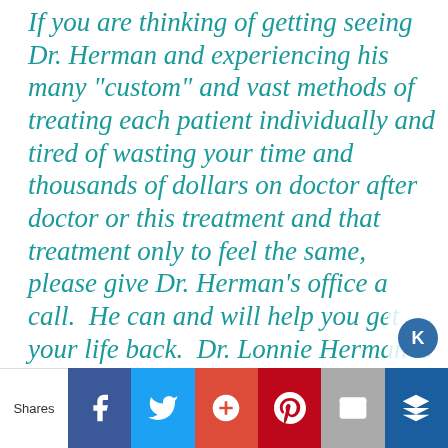If you are thinking of getting seeing Dr. Herman and experiencing his many "custom" and vast methods of treating each patient individually and tired of wasting your time and thousands of dollars on doctor after doctor or this treatment and that treatment only to feel the same, please give Dr. Herman's office a call.  He can and will help you get your life back.  Dr. Lonnie Herman is known by many for providing unique methods, o
[Figure (other): Social media share bar with buttons: Shares label, Facebook, Twitter, Google+, Pinterest, Email, Kingged icons]